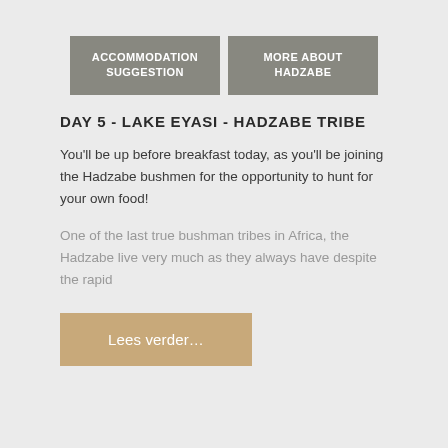[Figure (other): Two grey buttons: ACCOMMODATION SUGGESTION and MORE ABOUT HADZABE]
DAY 5 - LAKE EYASI - HADZABE TRIBE
You'll be up before breakfast today, as you'll be joining the Hadzabe bushmen for the opportunity to hunt for your own food!
One of the last true bushman tribes in Africa, the Hadzabe live very much as they always have despite the rapid
[Figure (other): Tan/beige button labeled Lees verder...]
DAY 6 - LOCAL ACTIVITIES - ARUSHA